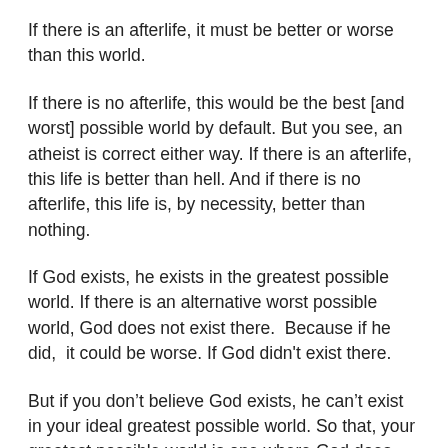If there is an afterlife, it must be better or worse than this world.
If there is no afterlife, this would be the best [and worst] possible world by default. But you see, an atheist is correct either way. If there is an afterlife, this life is better than hell. And if there is no afterlife, this life is, by necessity, better than nothing.
If God exists, he exists in the greatest possible world. If there is an alternative worst possible world, God does not exist there.  Because if he did,  it could be worse. If God didn't exist there.
But if you don’t believe God exists, he can’t exist in your ideal greatest possible world. So that, your greatest possible world is one where God does not exist. This is independent of the fact that God may or